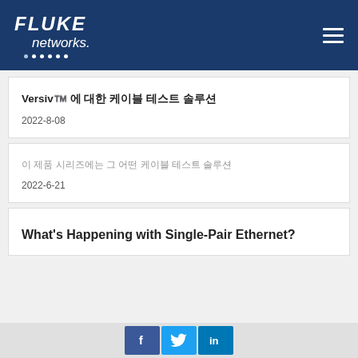Fluke Networks
Versiv™️ 에 대한 케이블 테스트 솔루션
2022-8-08
이 제품 시리즈에는 그 어떤 케이블 테스트 솔루션
2022-6-21
What's Happening with Single-Pair Ethernet?